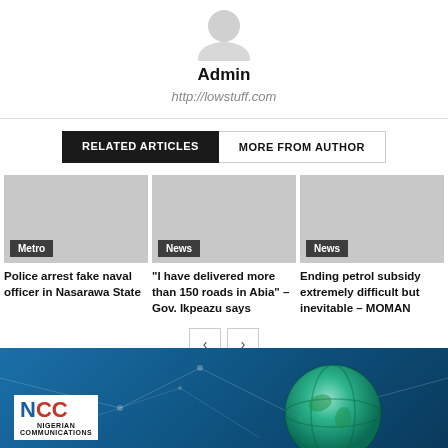[Figure (illustration): Grey silhouette avatar icon for Admin user]
Admin
http://lowstuff.com
RELATED ARTICLES   MORE FROM AUTHOR
[Figure (photo): Grey placeholder image for article: Police arrest fake naval officer in Nasarawa State, tagged Metro]
Police arrest fake naval officer in Nasarawa State
[Figure (photo): Grey placeholder image for article: "I have delivered more than 150 roads in Abia" – Gov. Ikpeazu says, tagged News]
"I have delivered more than 150 roads in Abia" – Gov. Ikpeazu says
[Figure (photo): Grey placeholder image for article: Ending petrol subsidy extremely difficult but inevitable – MOMAN, tagged News]
Ending petrol subsidy extremely difficult but inevitable – MOMAN
[Figure (logo): NCC Nigerian Communications Commission logo banner with globe and network lines background]